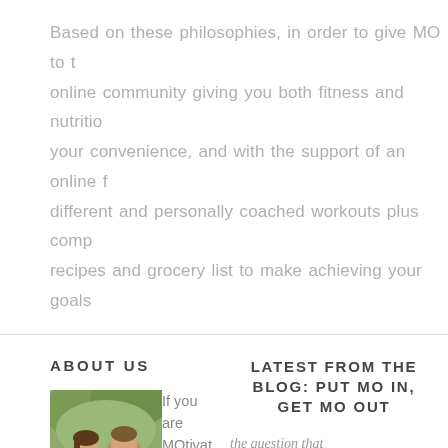Based on these philosophies, in order to give MO to the online community giving you both fitness and nutrition at your convenience, and with the support of an online f... different and personally coached workouts plus comp... recipes and grocery list to make achieving your goals...
ABOUT US
[Figure (photo): Photo of a man and woman smiling outdoors]
If you are MOtivated to accomplished a goal, you will do...
LATEST FROM THE BLOG: PUT MO IN, GET MO OUT
the question that can change your life & body (and how you feel in both)
do you crash post...